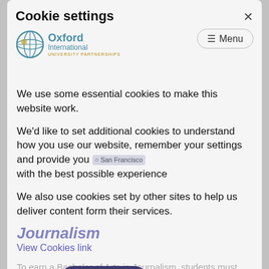Cookie settings
[Figure (logo): Oxford International University Partnerships logo with globe icon]
We use some essential cookies to make this website work.
We'd like to set additional cookies to understand how you use our website, remember your settings and provide you with the best possible experience
We also use cookies set by other sites to help us deliver content form their services.
View Cookies link
To earn a Bachelor of Arts in Journalism, students must complete 43 journalism units. Only ten journalism units may be in the lower-